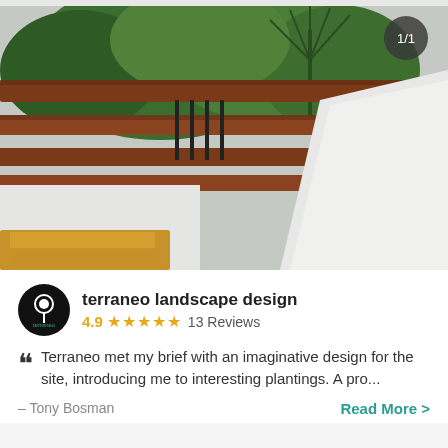[Figure (photo): Outdoor landscape photo showing wooden pergola beams with green trees/plants in background, white render wall and natural stone steps in foreground. Badge showing '1/1' in top right corner.]
terraneo landscape design
4.9 ★★★★★ 13 Reviews
Terraneo met my brief with an imaginative design for the site, introducing me to interesting plantings. A pro...
– Tony Bosman
Read More >